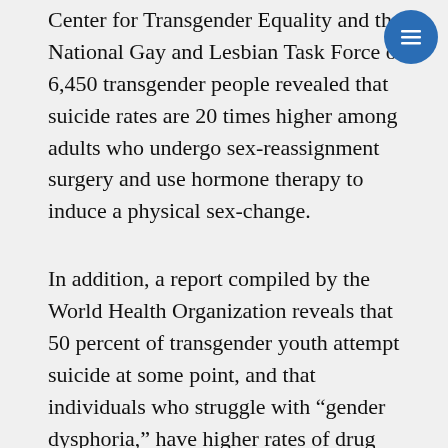Center for Transgender Equality and the National Gay and Lesbian Task Force of 6,450 transgender people revealed that suicide rates are 20 times higher among adults who undergo sex-reassignment surgery and use hormone therapy to induce a physical sex-change.
In addition, a report compiled by the World Health Organization reveals that 50 percent of transgender youth attempt suicide at some point, and that individuals who struggle with “gender dysphoria,” have higher rates of drug abuse, unemployment struggles, and homelessness.
This is a contentious issue indeed. Many people